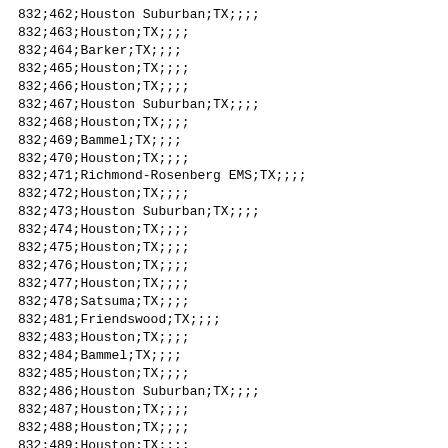832;462;Houston Suburban;TX;;;;
832;463;Houston;TX;;;;
832;464;Barker;TX;;;;
832;465;Houston;TX;;;;
832;466;Houston;TX;;;;
832;467;Houston Suburban;TX;;;;
832;468;Houston;TX;;;;
832;469;Bammel;TX;;;;
832;470;Houston;TX;;;;
832;471;Richmond-Rosenberg EMS;TX;;;;
832;472;Houston;TX;;;;
832;473;Houston Suburban;TX;;;;
832;474;Houston;TX;;;;
832;475;Houston;TX;;;;
832;476;Houston;TX;;;;
832;477;Houston;TX;;;;
832;478;Satsuma;TX;;;;
832;481;Friendswood;TX;;;;
832;483;Houston;TX;;;;
832;484;Bammel;TX;;;;
832;485;Houston;TX;;;;
832;486;Houston Suburban;TX;;;;
832;487;Houston;TX;;;;
832;488;Houston;TX;;;;
832;489;Houston;TX;;;;
832;491;Houston;TX;;;;
832;492;Langham Creek;TX;;;;
832;493;Langham Creek;TX;;;;
832;494;Houston;TX;;;;
832;495;Houston;TX;;;;